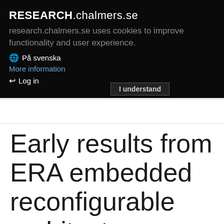RESEARCH.chalmers.se
research.chalmers.se uses cookies to improve functionality and user experience.
På svenska
More information
Log in
I understand
Early results from ERA embedded reconfigurable architectures
Paper in proceeding, 2011